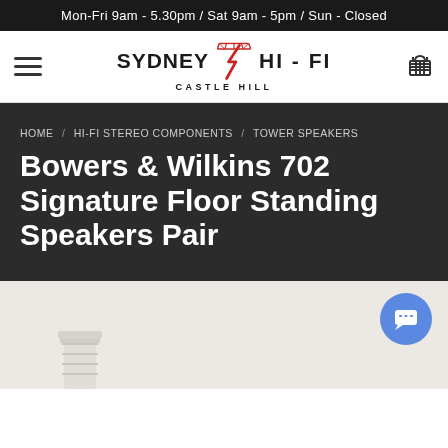Mon-Fri 9am - 5.30pm / Sat 9am - 5pm / Sun - Closed
[Figure (logo): Sydney Hi-Fi Castle Hill logo with red lightning bolt graphic between SYDNEY and HI-FI text, CASTLE HILL subtitle below]
HOME / HI-FI STEREO COMPONENTS / TOWER SPEAKERS
Bowers & Wilkins 702 Signature Floor Standing Speakers Pair
[Figure (photo): Partial product photo showing white floor standing speaker column against a light grey/beige background]